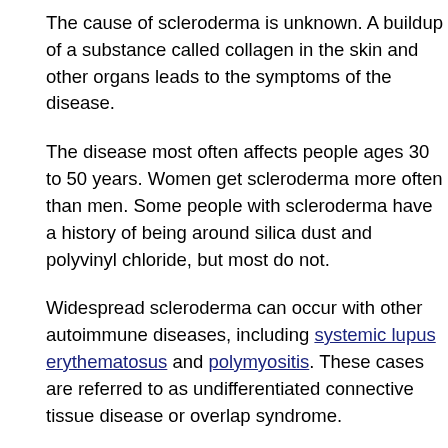The cause of scleroderma is unknown. A buildup of a substance called collagen in the skin and other organs leads to the symptoms of the disease.
The disease most often affects people ages 30 to 50 years. Women get scleroderma more often than men. Some people with scleroderma have a history of being around silica dust and polyvinyl chloride, but most do not.
Widespread scleroderma can occur with other autoimmune diseases, including systemic lupus erythematosus and polymyositis. These cases are referred to as undifferentiated connective tissue disease or overlap syndrome.
Symptoms
Some types of scleroderma affect only the skin, while others affect the whole body.